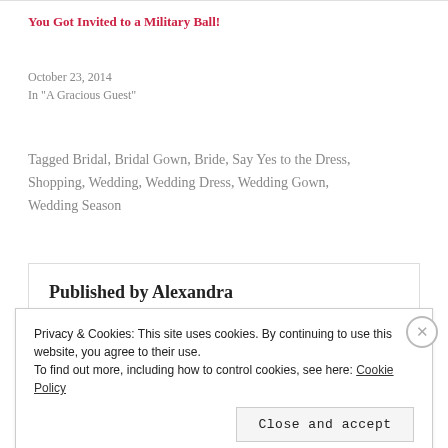You Got Invited to a Military Ball!
October 23, 2014
In "A Gracious Guest"
Tagged Bridal, Bridal Gown, Bride, Say Yes to the Dress, Shopping, Wedding, Wedding Dress, Wedding Gown, Wedding Season
Published by Alexandra
Privacy & Cookies: This site uses cookies. By continuing to use this website, you agree to their use. To find out more, including how to control cookies, see here: Cookie Policy
Close and accept